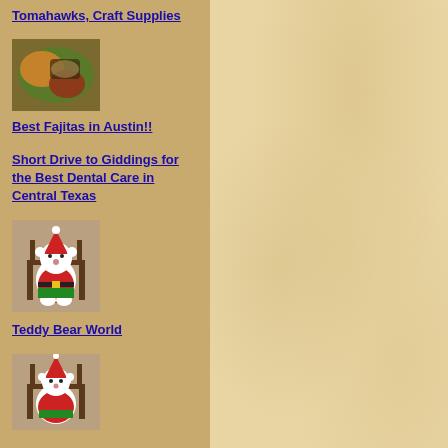Tomahawks, Craft Supplies
[Figure (photo): Food photo showing fajitas dish with vegetables and cast iron skillet]
Best Fajitas in Austin!!
Short Drive to Giddings for the Best Dental Care in Central Texas
[Figure (photo): Teddy bear dressed in Santa Claus outfit sitting on a chair]
Teddy Bear World
[Figure (photo): Teddy bear dressed in Santa Claus outfit sitting on a chair (second image)]